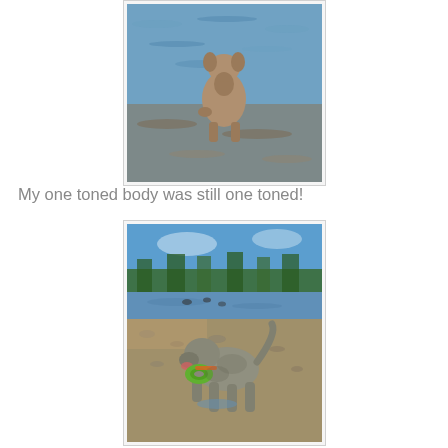[Figure (photo): A dog standing in shallow water facing away from the camera, with rippling water all around.]
My one toned body was still one toned!
[Figure (photo): A dog at the edge of a lake, carrying a green ring toy in its mouth, with trees and blue sky in the background.]